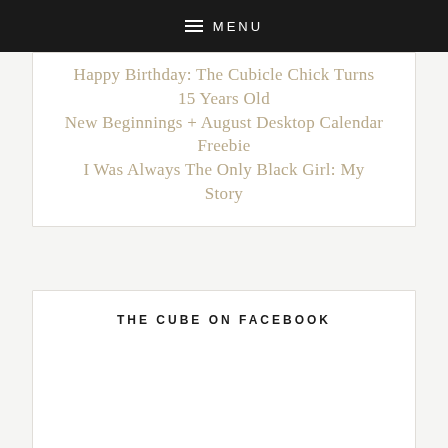≡ MENU
Happy Birthday: The Cubicle Chick Turns 15 Years Old
New Beginnings + August Desktop Calendar Freebie
I Was Always The Only Black Girl: My Story
THE CUBE ON FACEBOOK